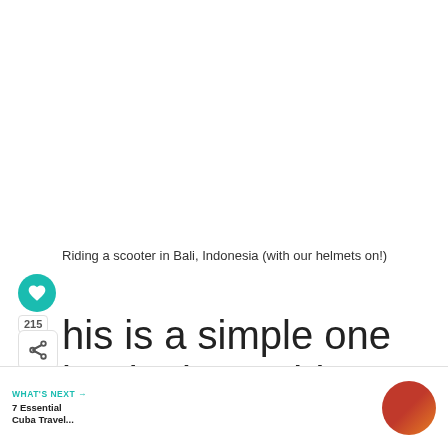Riding a scooter in Bali, Indonesia (with our helmets on!)
his is a simple one but it always blows my nd how few people actually do it. If you ability to buckle up in a vehicle when in transit, do it.
WHAT'S NEXT → 7 Essential Cuba Travel...